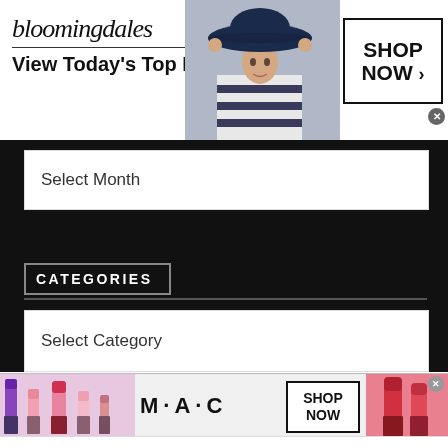[Figure (illustration): Bloomingdales advertisement banner with logo, tagline 'View Today's Top Deals!', a woman in a navy hat, and a 'SHOP NOW >' button]
Select Month
CATEGORIES
Select Category
[Figure (illustration): MAC Cosmetics advertisement banner with colorful lipsticks, MAC logo, and 'SHOP NOW' button]